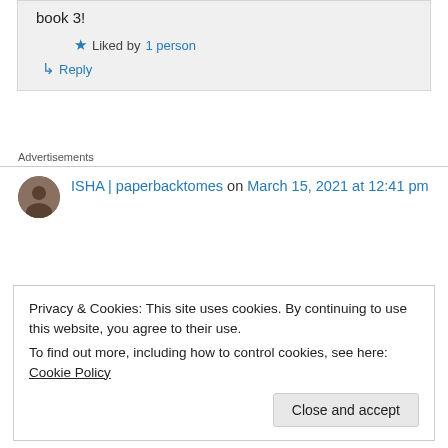book 3!
★ Liked by 1 person
↳ Reply
Advertisements
ISHA | paperbacktomes on March 15, 2021 at 12:41 pm
Privacy & Cookies: This site uses cookies. By continuing to use this website, you agree to their use. To find out more, including how to control cookies, see here: Cookie Policy
Close and accept